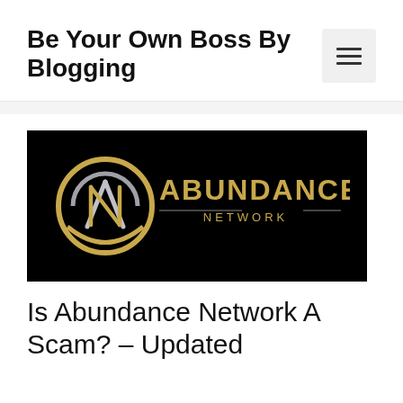Be Your Own Boss By Blogging
[Figure (logo): Abundance Network logo — black background with a silver and gold circular AN monogram icon and gold text reading 'ABUNDANCE NETWORK']
Is Abundance Network A Scam? – Updated